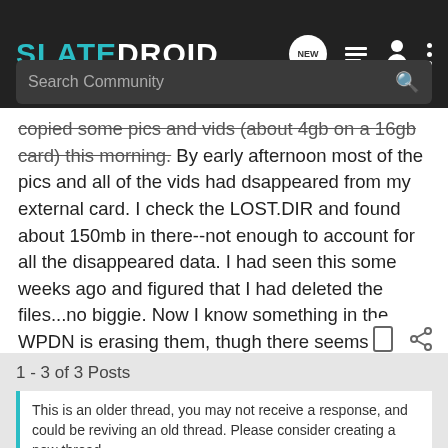SLATEDROID
copied some pics and vids (about 4gb on a 16gb card) this morning.  By early afternoon most of the pics and all of the vids had dsappeared from my external card.  I check the LOST.DIR and found about 150mb in there--not enough to account for all the disappeared data.  I had seen this some weeks ago and figured that I had deleted the files...no biggie.  Now I know something in the WPDN is erasing them, thugh there seems to be no rhyme or reason.  WTF?
1 - 3 of 3 Posts
This is an older thread, you may not receive a response, and could be reviving an old thread. Please consider creating a new thread.